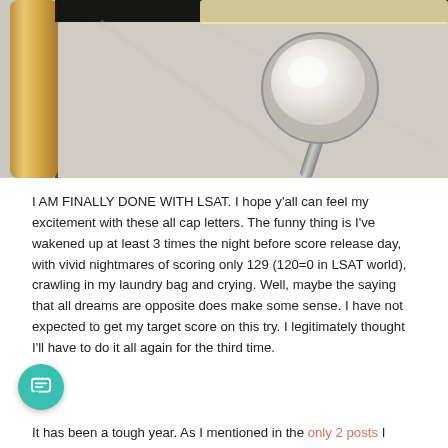[Figure (photo): Overhead baking scene showing a wooden rolling pin, a metal measuring spoon filled with white flour/powder, and what appears to be dough or pasta, all on a dark baking tray over a marble surface.]
I AM FINALLY DONE WITH LSAT. I hope y'all can feel my excitement with these all cap letters. The funny thing is I've wakened up at least 3 times the night before score release day, with vivid nightmares of scoring only 129 (120=0 in LSAT world), crawling in my laundry bag and crying. Well, maybe the saying that all dreams are opposite does make some sense. I have not expected to get my target score on this try. I legitimately thought I'll have to do it all again for the third time.
It has been a tough year. As I mentioned in the only 2 posts I